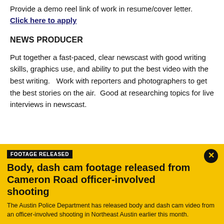Provide a demo reel link of work in resume/cover letter.  Click here to apply
NEWS PRODUCER
Put together a fast-paced, clear newscast with good writing skills, graphics use, and ability to put the best video with the best writing.   Work with reporters and photographers to get the best stories on the air.  Good at researching topics for live interviews in newscast.
[Figure (infographic): Yellow promotional banner with black badge reading 'FOOTAGE RELEASED', headline 'Body, dash cam footage released from Cameron Road officer-involved shooting', body text about Austin Police Department releasing body and dash cam video, and a close button (X) in black circle.]